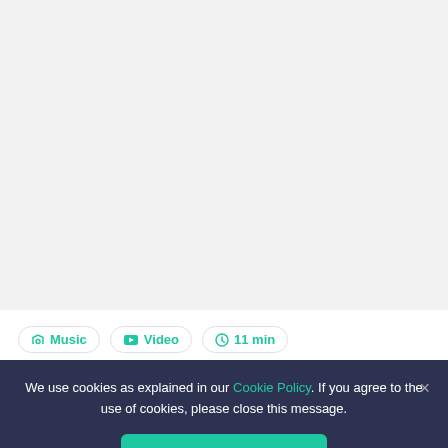Music  Video  11 min
Christmas Music Quiz | Guess the Christmas Song
We use cookies as explained in our Cookie Policy. If you agree to the use of cookies, please close this message.
Accept & Close